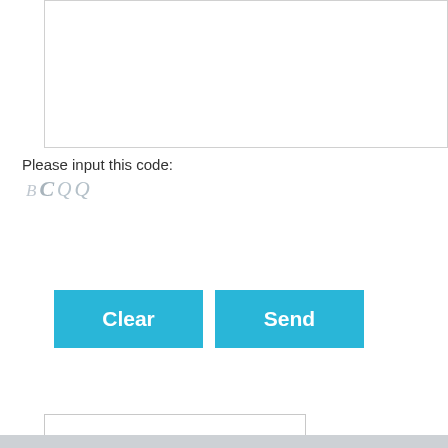[Figure (screenshot): A large empty white textarea input box with a light gray border, partially visible at the top of the page.]
Please input this code:
[Figure (other): CAPTCHA code showing letters: B C Q Q in light gray italic styling]
[Figure (screenshot): A text input box for entering the CAPTCHA code, with a light gray border.]
[Figure (screenshot): Two cyan/blue buttons labeled 'Clear' and 'Send' side by side.]